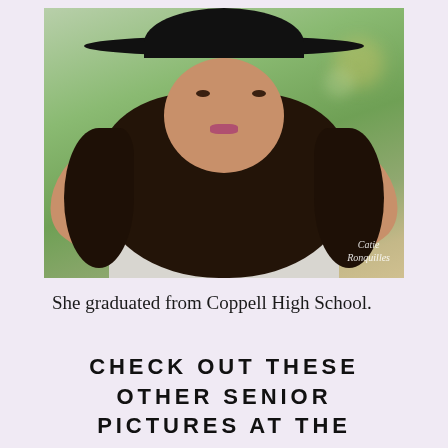[Figure (photo): Portrait photo of a young woman with long curly dark hair wearing a wide-brimmed black hat and white shirt, smiling with hands behind her head. Photographer watermark reads 'Catie Ronquilles' in bottom right corner.]
She graduated from Coppell High School.
CHECK OUT THESE OTHER SENIOR PICTURES AT THE DALLAS MUSEUM OF ART